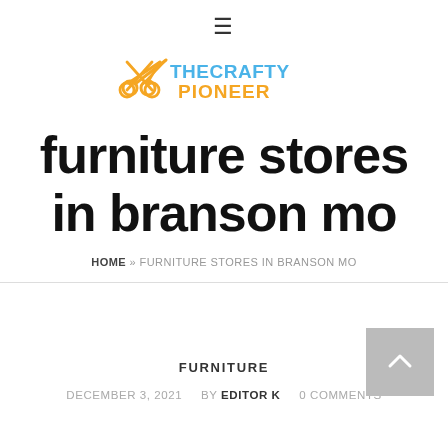[Figure (logo): The Crafty Pioneer logo with scissors icon, 'THECRAFTY' in blue and 'PIONEER' in orange]
furniture stores in branson mo
HOME » FURNITURE STORES IN BRANSON MO
FURNITURE
DECEMBER 3, 2021   BY EDITOR K   0 COMMENTS